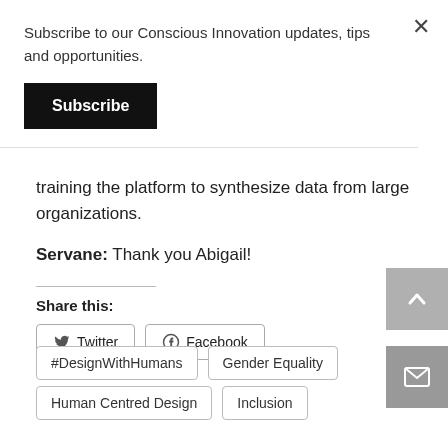Subscribe to our Conscious Innovation updates, tips and opportunities.
Subscribe
training the platform to synthesize data from large organizations.
Servane: Thank you Abigail!
Share this:
Twitter
Facebook
#DesignWithHumans
Gender Equality
Human Centred Design
Inclusion